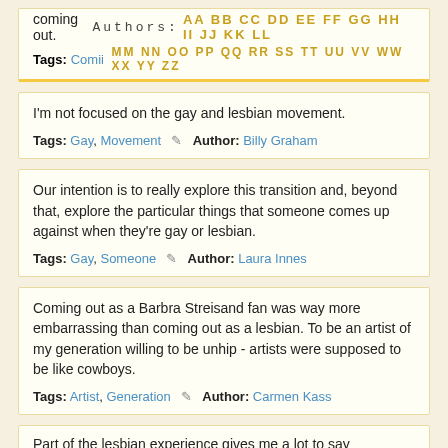coming out. Authors: AA BB CC DD EE FF GG HH II JJ KK LL MM NN OO PP QQ RR SS TT UU VV WW XX YY ZZ
Tags: Coming [out]
I'm not focused on the gay and lesbian movement.
Tags: Gay, Movement ✎ Author: Billy Graham
Our intention is to really explore this transition and, beyond that, explore the particular things that someone comes up against when they're gay or lesbian.
Tags: Gay, Someone ✎ Author: Laura Innes
Coming out as a Barbra Streisand fan was way more embarrassing than coming out as a lesbian. To be an artist of my generation willing to be unhip - artists were supposed to be like cowboys.
Tags: Artist, Generation ✎ Author: Carmen Kass
Part of the lesbian experience gives me a lot to say positively...